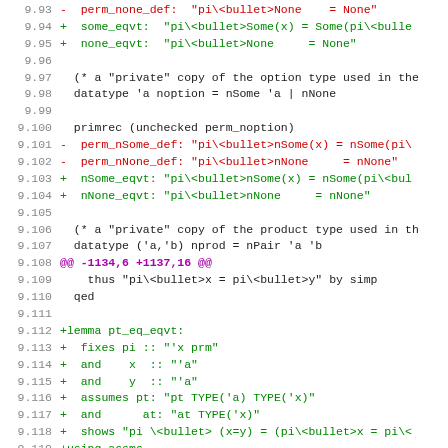[Figure (screenshot): Source code diff view showing lines 9.93 through 9.124, with line numbers on the left, red lines prefixed with '-' indicating deletions, green lines prefixed with '+' indicating additions, purple lines for diff headers, and black lines for context code.]